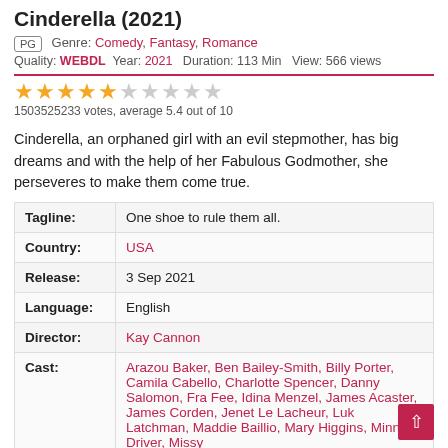Cinderella (2021)
PG  Genre: Comedy, Fantasy, Romance
Quality: WEBDL  Year: 2021  Duration: 113 Min  View: 566 views
[Figure (other): Star rating: 4.5 out of 10 stars shown]
1503525233 votes, average 5.4 out of 10
Cinderella, an orphaned girl with an evil stepmother, has big dreams and with the help of her Fabulous Godmother, she perseveres to make them come true.
| Tagline: | One shoe to rule them all. |
| Country: | USA |
| Release: | 3 Sep 2021 |
| Language: | English |
| Director: | Kay Cannon |
| Cast: | Arazou Baker, Ben Bailey-Smith, Billy Porter, Camila Cabello, Charlotte Spencer, Danny Salomon, Fra Fee, Idina Menzel, James Acaster, James Corden, Jenet Le Lacheur, Luk Latchman, Maddie Baillio, Mary Higgins, Minnie Driver, Missy |